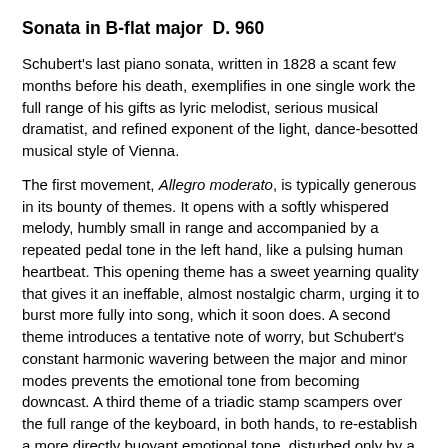Sonata in B-flat major  D. 960
Schubert's last piano sonata, written in 1828 a scant few months before his death, exemplifies in one single work the full range of his gifts as lyric melodist, serious musical dramatist, and refined exponent of the light, dance-besotted musical style of Vienna.
The first movement, Allegro moderato, is typically generous in its bounty of themes. It opens with a softly whispered melody, humbly small in range and accompanied by a repeated pedal tone in the left hand, like a pulsing human heartbeat. This opening theme has a sweet yearning quality that gives it an ineffable, almost nostalgic charm, urging it to burst more fully into song, which it soon does. A second theme introduces a tentative note of worry, but Schubert's constant harmonic wavering between the major and minor modes prevents the emotional tone from becoming downcast. A third theme of a triadic stamp scampers over the full range of the keyboard, in both hands, to re-establish a more directly buoyant emotional tone, disturbed only by a recurring low trill in the left hand that